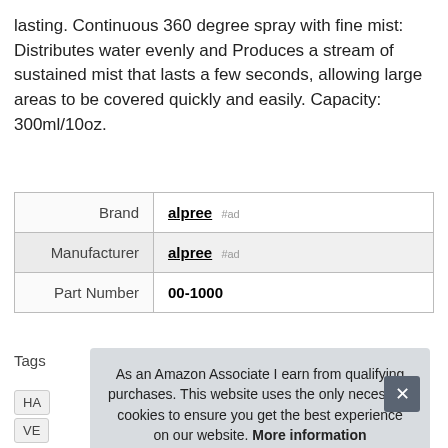lasting. Continuous 360 degree spray with fine mist: Distributes water evenly and Produces a stream of sustained mist that lasts a few seconds, allowing large areas to be covered quickly and easily. Capacity: 300ml/10oz.
| Brand | alpree #ad |
| Manufacturer | alpree #ad |
| Part Number | 00-1000 |
More information #ad
Tags
As an Amazon Associate I earn from qualifying purchases. This website uses the only necessary cookies to ensure you get the best experience on our website. More information